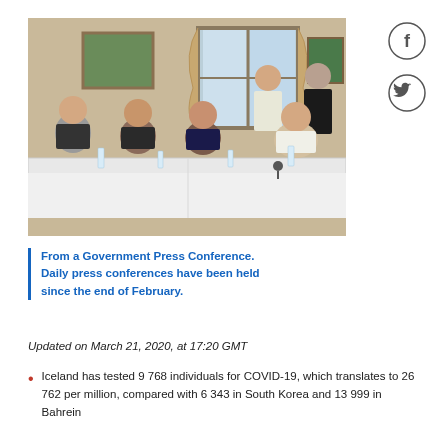[Figure (photo): Group of people seated and standing at a long table covered with a white tablecloth in a formal room, appearing to be at a government press conference.]
From a Government Press Conference. Daily press conferences have been held since the end of February.
Updated on March 21, 2020, at 17:20 GMT
Iceland has tested 9 768 individuals for COVID-19, which translates to 26 762 per million, compared with 6 343 in South Korea and 13 999 in Bahrein